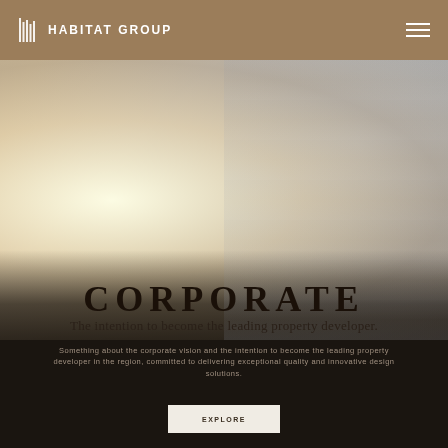HABITAT GROUP
[Figure (photo): Blurred architectural interior image with warm beige/gold tones on the left and cooler grey-blue tones on the right, creating a soft bokeh effect]
CORPORATE
The intention to become the leading property developer.
Body description text about corporate vision and mission in dark background section
EXPLORE